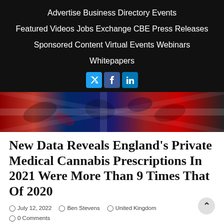Advertise | Business Directory | Events | Featured Videos | Jobs Exchange | CBE Press Releases | Sponsored Content | Virtual Events | Webinars | Whitepapers
[Figure (illustration): Social media icons: Twitter (blue), Facebook (dark blue), LinkedIn (blue)]
[Figure (photo): Hero image showing cannabis leaves overlaid with UK flag colors (red, white, blue)]
New Data Reveals England's Private Medical Cannabis Prescriptions In 2021 Were More Than 9 Times That Of 2020
July 12, 2022 | Ben Stevens | United Kingdom | 0 Comments
FOLLOWING last week's dramatic political developments in the UK